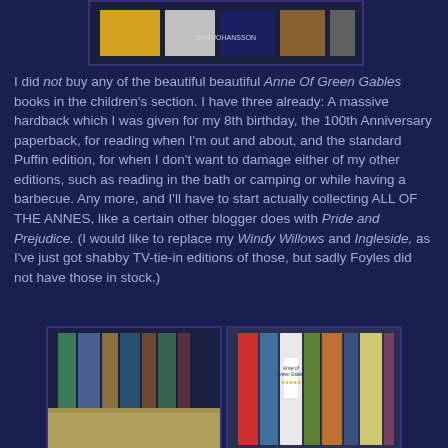[Figure (photo): Photo of book spines on a shelf, top portion of image]
I did not buy any of the beautiful beautiful Anne Of Green Gables books in the children's section. I have three already: A massive hardback which I was given for my 8th birthday, the 100th Anniversary paperback, for reading when I'm out and about, and the standard Puffin edition, for when I don't want to damage either of my other editions, such as reading in the bath or camping or while having a barbecue. Any more, and I'll have to start actually collecting ALL OF THE ANNES, like a certain other blogger does with Pride and Prejudice. (I would like to replace my Windy Willows and Ingleside, as I've just got shabby TV-tie-in editions of those, but sadly Foyles did not have those in stock.)
[Figure (photo): Photo of books on a shelf, left side]
[Figure (photo): Photo of Anne of Green Gables book with star rating label, right side]